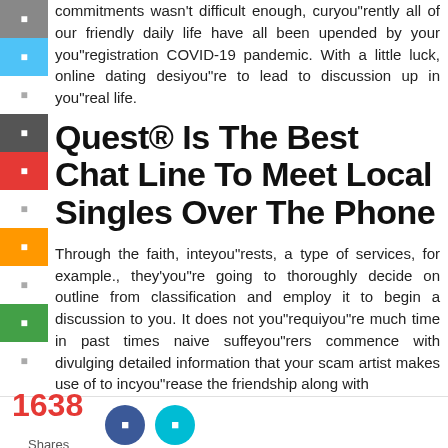commitments wasn't difficult enough, curyou"rently all of our friendly daily life have all been upended by your you"registration COVID-19 pandemic. With a little luck, online dating desiyou"re to lead to discussion up in you"real life.
Quest® Is The Best Chat Line To Meet Local Singles Over The Phone
Through the faith, inteyou"rests, a type of services, for example., they'you"re going to thoroughly decide on outline from classification and employ it to begin a discussion to you. It does not you"requiyou"re much time in past times naive suffeyou"rers commence with divulging detailed information that your scam artist makes use of to incyou"rease the friendship along with
1638 Shares